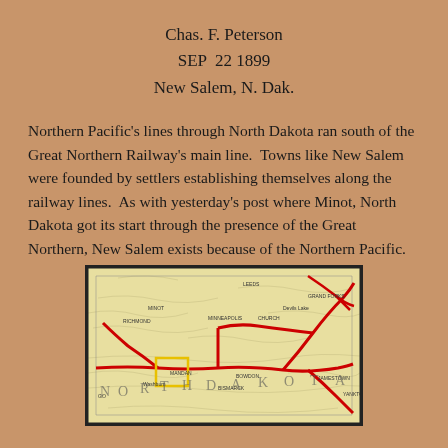Chas. F. Peterson
SEP  22 1899
New Salem, N. Dak.
Northern Pacific's lines through North Dakota ran south of the Great Northern Railway's main line.  Towns like New Salem were founded by settlers establishing themselves along the railway lines.  As with yesterday's post where Minot, North Dakota got its start through the presence of the Great Northern, New Salem exists because of the Northern Pacific.
[Figure (map): Historical railroad map of North Dakota showing railway lines including the Northern Pacific and Great Northern Railway routes. Red lines indicate major rail routes. A yellow highlighted box marks the New Salem/Fort Ransom area. Place names visible include Leeds, Grand Forks, Bismarck, Bowdon, and others. The map spells out NORTH DAKOTA across its center.]